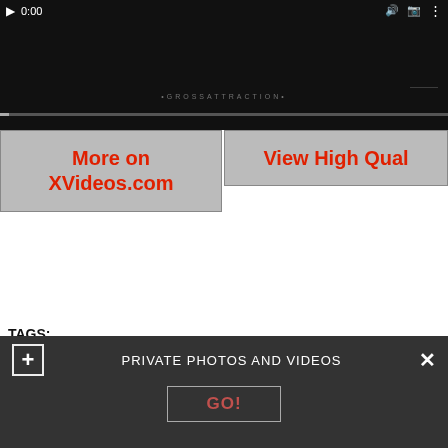[Figure (screenshot): Video player showing dark/black content with playback controls at top (play button, 0:00 timestamp, volume/settings icons) and a progress bar. A watermark text is visible in the middle.]
More on XVideos.com
View High Qual
TAGS:
bisexual,bi,fitmen,blowjob,pussylicking,redhead,doggystyle,teen,musc
PRIVATE PHOTOS AND VIDEOS
GO!